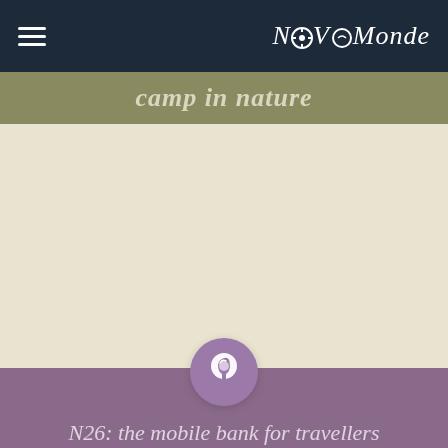NovoMonde
camp in nature
[Figure (illustration): Light bulb icon in a purple circle, centered above the purple card section]
N26: the mobile bank for travellers